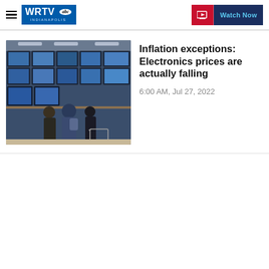WRTV Indianapolis | Watch Now
[Figure (photo): People shopping for televisions in an electronics store, with a wall of TV screens displaying blue images and shoppers standing in the aisle with a cart.]
Inflation exceptions: Electronics prices are actually falling
6:00 AM, Jul 27, 2022